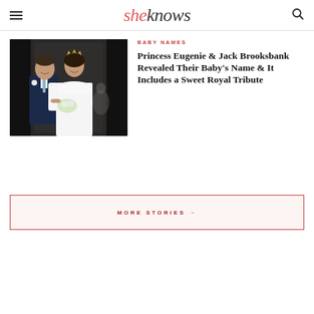sheknows
BABY NAMES
[Figure (photo): Princess Eugenie and Jack Brooksbank on their wedding day, Eugenie in white wedding dress with tiara, Jack in navy suit]
Princess Eugenie & Jack Brooksbank Revealed Their Baby's Name & It Includes a Sweet Royal Tribute
MORE STORIES →